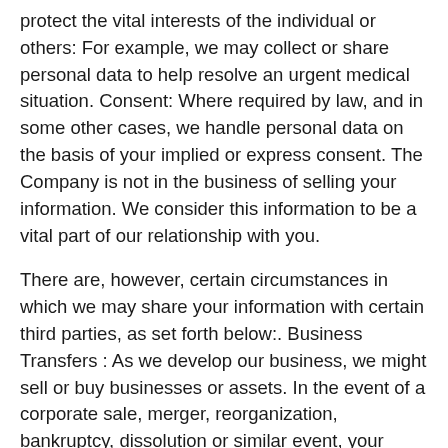protect the vital interests of the individual or others: For example, we may collect or share personal data to help resolve an urgent medical situation. Consent: Where required by law, and in some other cases, we handle personal data on the basis of your implied or express consent. The Company is not in the business of selling your information. We consider this information to be a vital part of our relationship with you.
There are, however, certain circumstances in which we may share your information with certain third parties, as set forth below:. Business Transfers : As we develop our business, we might sell or buy businesses or assets. In the event of a corporate sale, merger, reorganization, bankruptcy, dissolution or similar event, your information may be part of the transferred assets.
Related Companies : We may also share your information with our Related Companies for purposes consistent with this Privacy Policy. Agents, Consultants